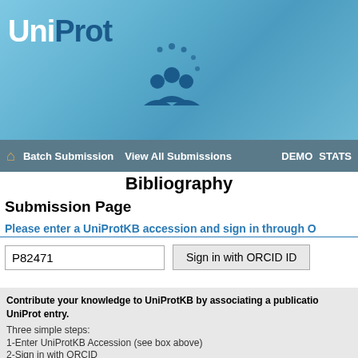[Figure (logo): UniProt logo with blue gradient banner background and people icon]
Batch Submission  View All Submissions  DEMO  STATS
Bibliography
Submission Page
Please enter a UniProtKB accession and sign in through O
P82471  [input field]  Sign in with ORCID ID [button]
Contribute your knowledge to UniProtKB by associating a publication to a UniProt entry.
Three simple steps:
1-Enter UniProtKB Accession (see box above)
2-Sign in with ORCID